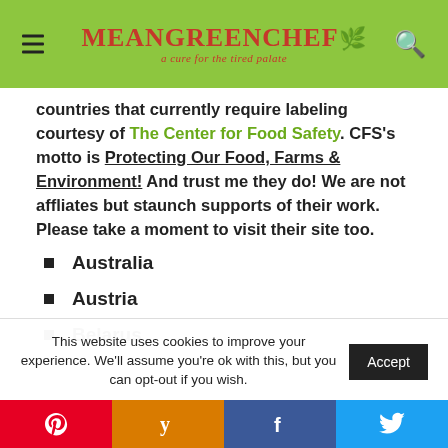MEAN GREEN CHEF — a cure for the tired palate
countries that currently require labeling courtesy of The Center for Food Safety. CFS's motto is Protecting Our Food, Farms & Environment! And trust me they do! We are not affliates but staunch supports of their work. Please take a moment to visit their site too.
Australia
Austria
Belarus
This website uses cookies to improve your experience. We'll assume you're ok with this, but you can opt-out if you wish.
Pinterest | Yummly | Facebook | Twitter